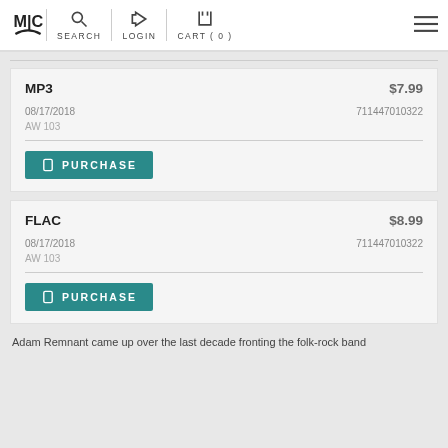MIC | SEARCH | LOGIN | CART (0)
| Format | Price | Date | Barcode | Catalog |
| --- | --- | --- | --- | --- |
| MP3 | $7.99 | 08/17/2018 | 711447010322 | AW 103 |
| FLAC | $8.99 | 08/17/2018 | 711447010322 | AW 103 |
Adam Remnant came up over the last decade fronting the folk-rock band